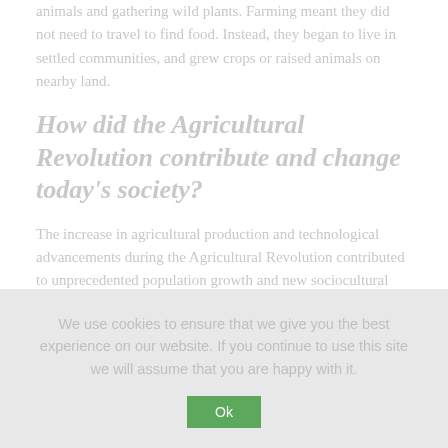animals and gathering wild plants. Farming meant they did not need to travel to find food. Instead, they began to live in settled communities, and grew crops or raised animals on nearby land.
How did the Agricultural Revolution contribute and change today's society?
The increase in agricultural production and technological advancements during the Agricultural Revolution contributed to unprecedented population growth and new sociocultural practices, triggering such phenomena as rural-to-urban migration, development of a coherent and loosely regulated agricultural market, and ...
We use cookies to ensure that we give you the best experience on our website. If you continue to use this site we will assume that you are happy with it.